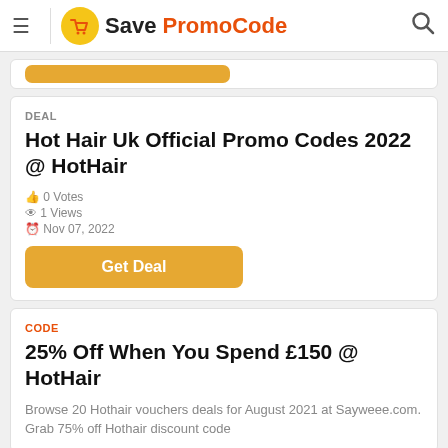Save PromoCode
Hot Hair Uk Official Promo Codes 2022 @ HotHair
0 Votes
1 Views
Nov 07, 2022
Get Deal
25% Off When You Spend £150 @ HotHair
Browse 20 Hothair vouchers deals for August 2021 at Sayweee.com. Grab 75% off Hothair discount code